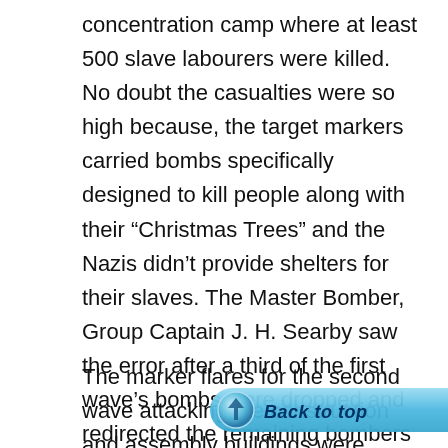concentration camp where at least 500 slave labourers were killed. No doubt the casualties were so high because, the target markers carried bombs specifically designed to kill people along with their “Christmas Trees” and the Nazis didn’t provide shelters for their slaves. The Master Bomber, Group Captain J. H. Searby saw the error after a third of the first wave’s bombs were dropped and redirected the remaining bombers onto the target. Anti-aircraft guns from both land and “Flak ships” opened up on the British bombers and two were shot down.
The marker flares for the second wave attacking the construction and assembly buildings were blown off course by a sudden gust of wind and some of the bombs landed in the sea. Fortunately Group Captain
[Figure (other): Blue 'Back to top' button with icon, overlaid on the text]